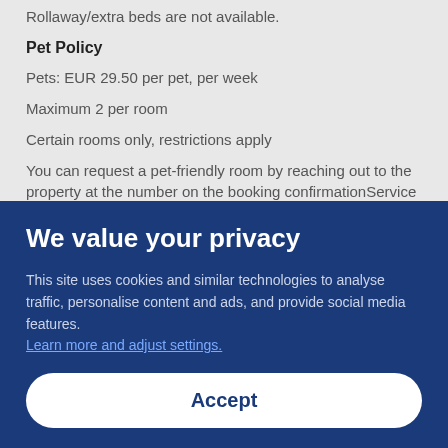Rollaway/extra beds are not available.
Pet Policy
Pets: EUR 29.50 per pet, per week
Maximum 2 per room
Certain rooms only, restrictions apply
You can request a pet-friendly room by reaching out to the property at the number on the booking confirmationService animals are exempt from fees.
Policies
Extra-person charges may apply and vary depending on property policy
We value your privacy
This site uses cookies and similar technologies to analyse traffic, personalise content and ads, and provide social media features. Learn more and adjust settings.
Accept